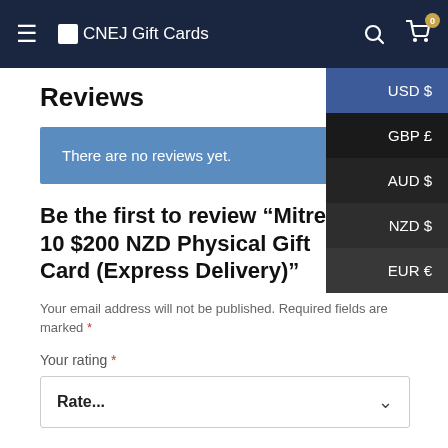CNEJ Gift Cards
Reviews
There are no reviews yet.
Be the first to review “Mitre 10 $200 NZD Physical Gift Card (Express Delivery)”
Your email address will not be published. Required fields are marked *
Your rating *
Rate...